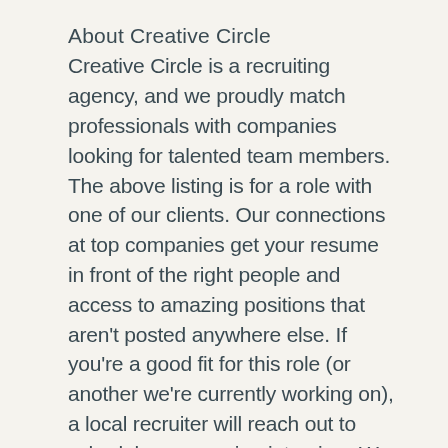About Creative Circle
Creative Circle is a recruiting agency, and we proudly match professionals with companies looking for talented team members. The above listing is for a role with one of our clients. Our connections at top companies get your resume in front of the right people and access to amazing positions that aren't posted anywhere else. If you're a good fit for this role (or another we're currently working on), a local recruiter will reach out to schedule a screening interview. We present only the top candidates to our clients.
For Creative Circle to represent you for this opportunity, you must be currently